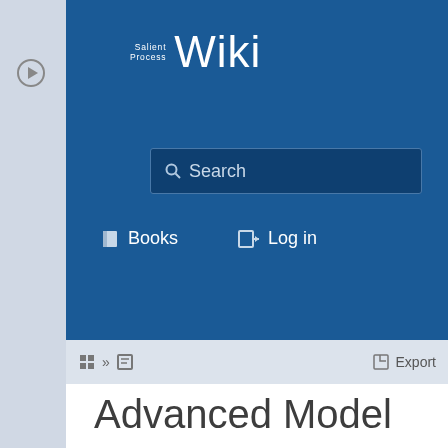Salient Process Wiki
Search
Books  Log in
Export
Advanced Model development
Expressions
The XPath functions available in Monitor are a subset of the XPath specification. The functions are...